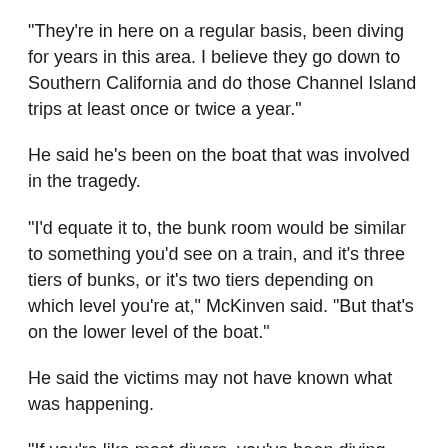"They're in here on a regular basis, been diving for years in this area. I believe they go down to Southern California and do those Channel Island trips at least once or twice a year."
He said he's been on the boat that was involved in the tragedy.
"I'd equate it to, the bunk room would be similar to something you'd see on a train, and it's three tiers of bunks, or it's two tiers depending on which level you're at," McKinven said. "But that's on the lower level of the boat."
He said the victims may not have known what was happening.
"If you're like most divers, you've been diving four to